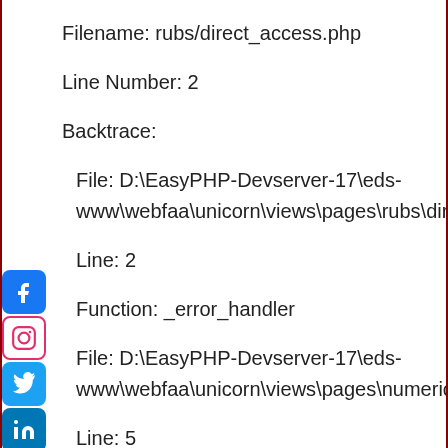Filename: rubs/direct_access.php
Line Number: 2
Backtrace:
File: D:\EasyPHP-Devserver-17\eds-www\webfaa\unicorn\views\pages\rubs\dire
Line: 2
Function: _error_handler
File: D:\EasyPHP-Devserver-17\eds-www\webfaa\unicorn\views\pages\numeric
Line: 5
Function: view
File: D:\EasyPHP-Devserver-17\eds-www\webfaa\unicorn\controllers\web.php
Line: 427